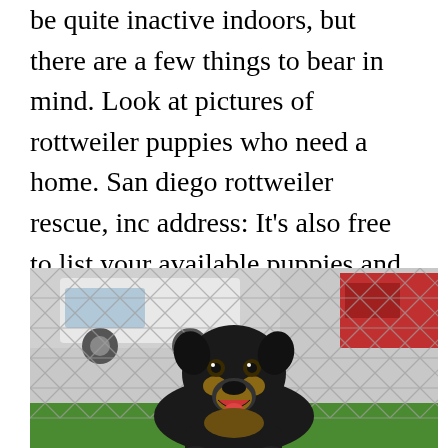be quite inactive indoors, but there are a few things to bear in mind. Look at pictures of rottweiler puppies who need a home. San diego rottweiler rescue, inc address: It's also free to list your available puppies and litters on our site. Scotty�s california rottweiler ranch 84gotrotts p.o box 834 oroville, ca 95965 us.
[Figure (photo): A black Rottweiler dog sitting on green grass in front of a chain-link fence, with vehicles visible in the background. The dog appears to be smiling with mouth open.]